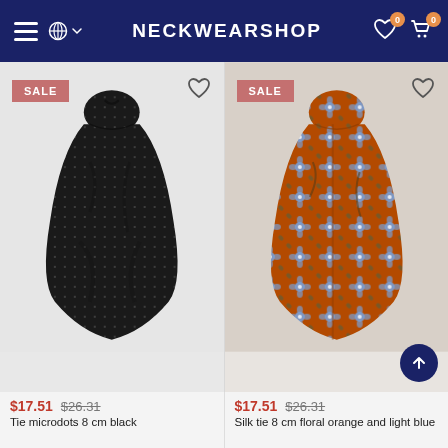NECKWEARSHOP
[Figure (photo): Black microdot necktie with SALE badge and heart icon]
$17.51 $26.31
Tie microdots 8 cm black
[Figure (photo): Orange and light blue floral silk necktie with SALE badge and heart icon]
$17.51 $26.31
Silk tie 8 cm floral orange and light blue